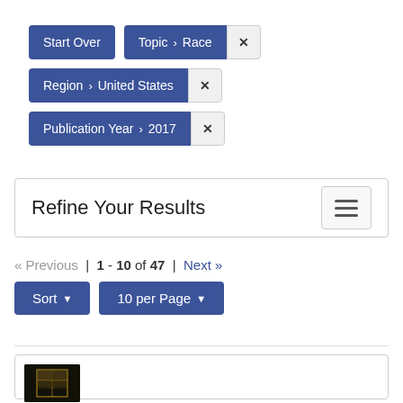Start Over
Topic > Race ×
Region > United States ×
Publication Year > 2017 ×
Refine Your Results
« Previous | 1 - 10 of 47 | Next »
Sort   10 per Page
[Figure (photo): Dark thumbnail image showing a window with light, book search result preview]